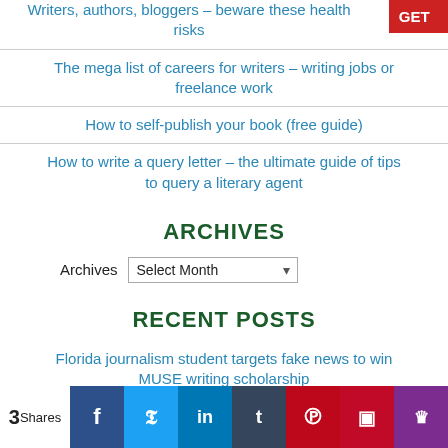Writers, authors, bloggers – beware these health risks
The mega list of careers for writers – writing jobs or freelance work
How to self-publish your book (free guide)
How to write a query letter – the ultimate guide of tips to query a literary agent
ARCHIVES
Archives  Select Month
RECENT POSTS
Florida journalism student targets fake news to win MUSE writing scholarship
How to write a script for a speech contest or a talent
3 Shares | Facebook | Twitter | LinkedIn | Tumblr | Pinterest | Flipboard | Mix